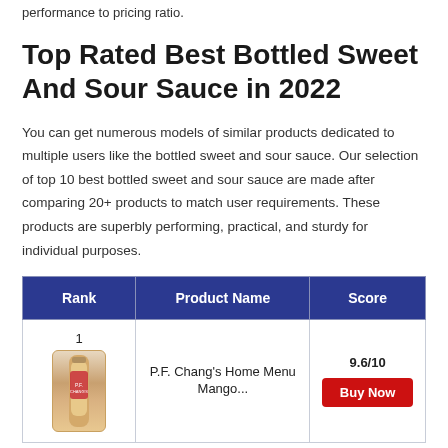performance to pricing ratio.
Top Rated Best Bottled Sweet And Sour Sauce in 2022
You can get numerous models of similar products dedicated to multiple users like the bottled sweet and sour sauce. Our selection of top 10 best bottled sweet and sour sauce are made after comparing 20+ products to match user requirements. These products are superbly performing, practical, and sturdy for individual purposes.
| Rank | Product Name | Score |
| --- | --- | --- |
| 1 | P.F. Chang's Home Menu Mango... | 9.6/10 |